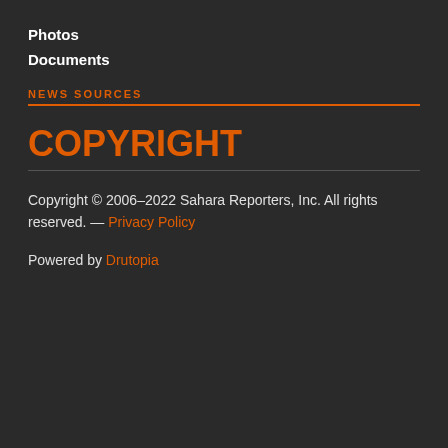Photos
Documents
NEWS SOURCES
COPYRIGHT
Copyright © 2006–2022 Sahara Reporters, Inc. All rights reserved. — Privacy Policy
Powered by Drutopia